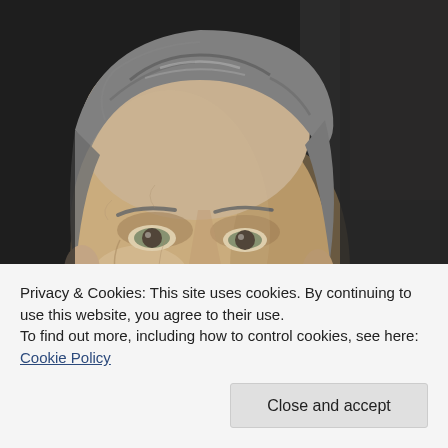[Figure (photo): Close-up portrait of a middle-aged man with silver-gray hair, wearing a dark suit and white shirt, photographed against a dark background.]
Privacy & Cookies: This site uses cookies. By continuing to use this website, you agree to their use.
To find out more, including how to control cookies, see here: Cookie Policy
Close and accept